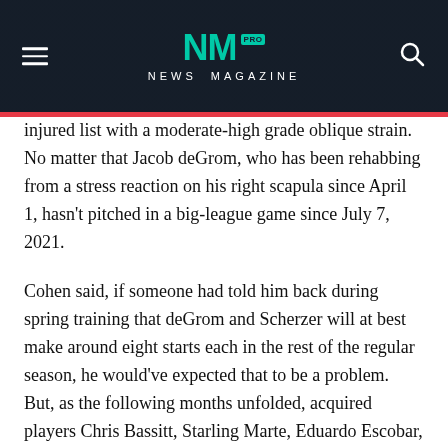NEWS MAGAZINE
injured list with a moderate-high grade oblique strain. No matter that Jacob deGrom, who has been rehabbing from a stress reaction on his right scapula since April 1, hasn't pitched in a big-league game since July 7, 2021.
Cohen said, if someone had told him back during spring training that deGrom and Scherzer will at best make around eight starts each in the rest of the regular season, he would've expected that to be a problem. But, as the following months unfolded, acquired players Chris Bassitt, Starling Marte, Eduardo Escobar, Mark Canha and others all adapted to their new team. The people he appointed to lead the Mets showed him they're capable of navigating the challenges. And those are just a couple of the reasons Cohen on Friday was relaxed about the state of his organization. Of course, winning helps.
"I'm doing this for the fans," Cohen said, "I'm enjoying this. I can't